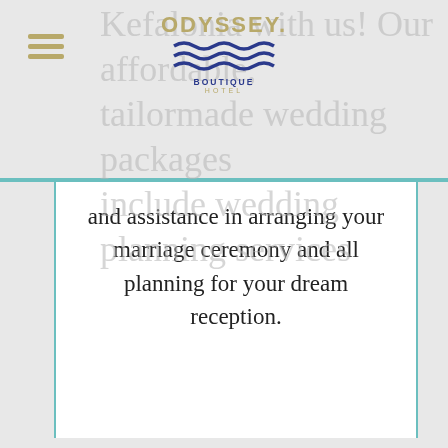[Figure (logo): Odyssey Boutique Hotel logo with wave graphic and hamburger menu icon]
Kefalonia with us! Our affordable, tailormade wedding packages include wedding planning services and assistance in arranging your marriage ceremony and all planning for your dream reception.